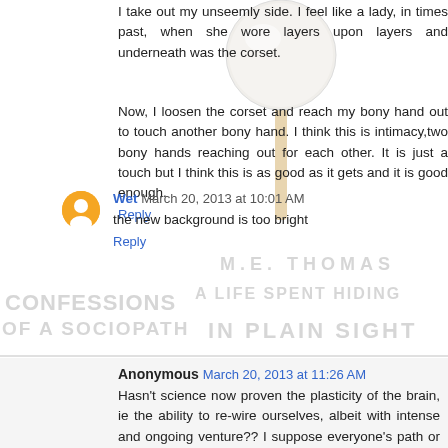I take out my unseemly side. I feel like a lady, in times past, when she wore layers upon layers and underneath was the corset.
Now, I loosen the corset and reach my bony hand out to touch another bony hand. I think this is intimacy,two bony hands reaching out for each other. It is just a touch but I think this is as good as it gets and it is good enough.
Reply
[Figure (illustration): Watermark text reading CONFESSIONS OF A SOCIOPATH A LIFE SPENT HIDING IN PLAIN SIGHT M.E. THOMAS overlaid on the page in light gray handwritten-style font]
[Figure (illustration): A lollipop (round white candy on a stick) image in the upper right area of the top section]
Wet March 20, 2013 at 10:01 AM
the new background is too bright
Reply
Anonymous March 20, 2013 at 11:26 AM
Hasn't science now proven the plasticity of the brain, ie the ability to re-wire ourselves, albeit with intense and ongoing venture?? I suppose everyone's path or currency to this is different, esp. NT's versus socios. It must begin at will, or